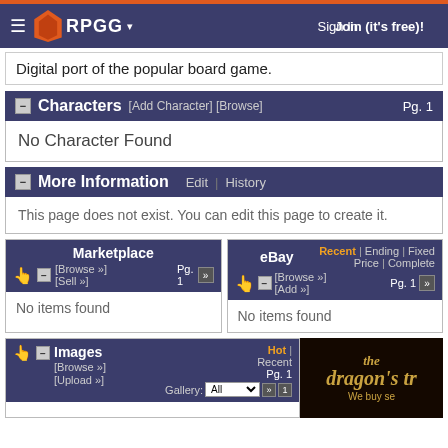RPGG | Sign In | Join (it's free)!
Digital port of the popular board game.
Characters [Add Character] [Browse] Pg. 1
No Character Found
More Information Edit | History
This page does not exist. You can edit this page to create it.
Marketplace [Browse »] [Sell »] Pg. 1
No items found
eBay Recent | Ending | Fixed Price | Complete [Browse »] [Add »] Pg. 1
No items found
Images Hot | Recent Pg. 1 [Browse »] [Upload »] Gallery: All
[Figure (screenshot): Dragon's trove advertisement: dark background with golden gothic text reading 'the dragon's tr' and 'We buy se']